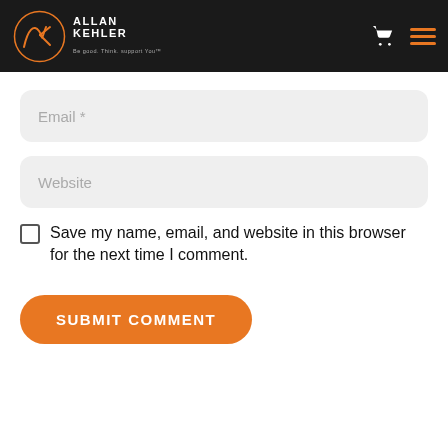Allan Kehler — Be good, Think, support You
Email *
Website
Save my name, email, and website in this browser for the next time I comment.
SUBMIT COMMENT